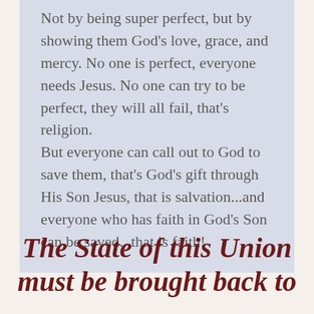Not by being super perfect, but by showing them God's love, grace, and mercy. No one is perfect, everyone needs Jesus. No one can try to be perfect, they will all fail, that's religion. But everyone can call out to God to save them, that's God's gift through His Son Jesus, that is salvation...and everyone who has faith in God's Son can be saved...that is faith!
The State of this Union must be brought back to